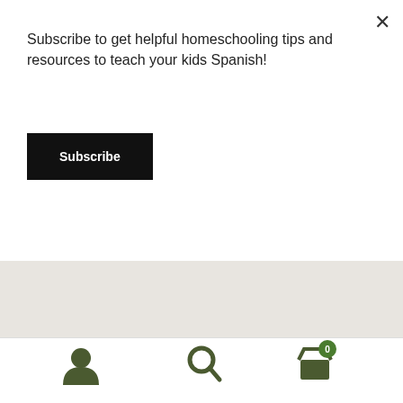Subscribe to get helpful homeschooling tips and resources to teach your kids Spanish!
Subscribe
×
HBhCyARIsAPctr7xuZvDxBHLjlp7sHBTQw62SzpH1Ex4TUStSaftLBXjk6HaqD0WlzbcaAqcuEALw_wcB
[Figure (logo): RockAlingua colorful logo with multicolored letters on a beige background]
[Figure (infographic): Bottom navigation bar with person icon, search icon, and shopping cart icon with badge showing 0]